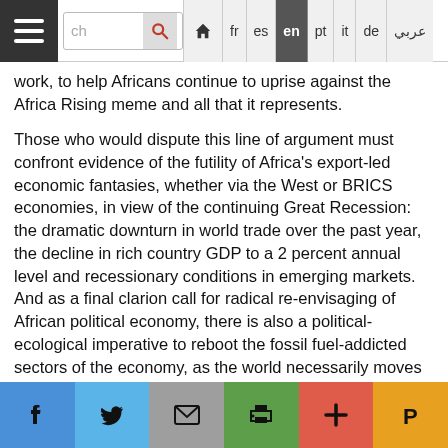Navigation bar with hamburger menu, search box, and language options: fr, es, en (active), pt, it, de, Arabic
work, to help Africans continue to uprise against the Africa Rising meme and all that it represents.
Those who would dispute this line of argument must confront evidence of the futility of Africa's export-led economic fantasies, whether via the West or BRICS economies, in view of the continuing Great Recession: the dramatic downturn in world trade over the past year, the decline in rich country GDP to a 2 percent annual level and recessionary conditions in emerging markets. And as a final clarion call for radical re-envisaging of African political economy, there is also a political-ecological imperative to reboot the fossil fuel-addicted sectors of the economy, as the world necessarily moves to post-carbon life. The Naomi Klein (2014) book This Changes Everything bears witness to the need to restructure a great many areas of life:
Social share buttons: Facebook, Twitter, Email, Print, Plus, Pocket